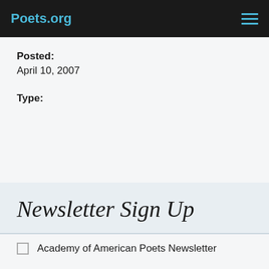Poets.org
Posted:
April 10, 2007
Type:
Newsletter Sign Up
Academy of American Poets Newsletter
Academy of American Poets Educator Newsletter